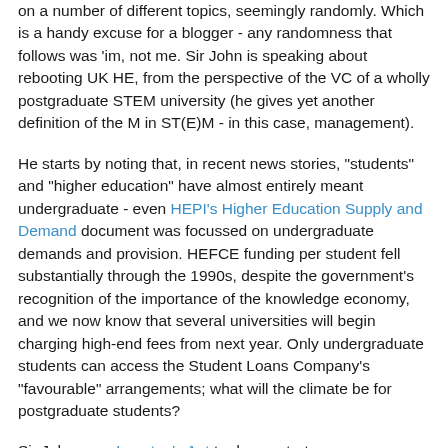on a number of different topics, seemingly randomly. Which is a handy excuse for a blogger - any randomness that follows was 'im, not me. Sir John is speaking about rebooting UK HE, from the perspective of the VC of a wholly postgraduate STEM university (he gives yet another definition of the M in ST(E)M - in this case, management).
He starts by noting that, in recent news stories, "students" and "higher education" have almost entirely meant undergraduate - even HEPI's Higher Education Supply and Demand document was focussed on undergraduate demands and provision. HEFCE funding per student fell substantially through the 1990s, despite the government's recognition of the importance of the knowledge economy, and we now know that several universities will begin charging high-end fees from next year. Only undergraduate students can access the Student Loans Company's "favourable" arrangements; what will the climate be for postgraduate students?
Sir John uses Langton's Ant to demonstrate emergence, as a cipher for the complexity of the higher education system: a simple algorithm at the heart of a complex system that